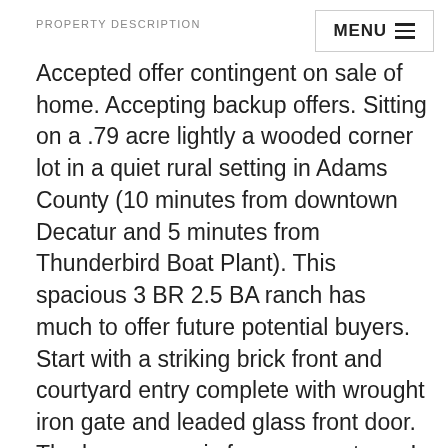PROPERTY DESCRIPTION
Accepted offer contingent on sale of home. Accepting backup offers. Sitting on a .79 acre lightly a wooded corner lot in a quiet rural setting in Adams County (10 minutes from downtown Decatur and 5 minutes from Thunderbird Boat Plant). This spacious 3 BR 2.5 BA ranch has much to offer future potential buyers. Start with a striking brick front and courtyard entry complete with wrought iron gate and leaded glass front door. The large ceramic foyer opens to an L shaped living and dining room. The large living room is a great family gathering area and the formal DR could also be used as a den. The centrally located custom kitchen has quality raised panel Hilty Cabinets and wood flooring. Off the kitchen is a very spacious FR with charismatic